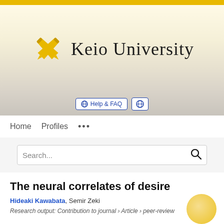[Figure (logo): Keio University logo with crossed golden pens and serif text 'Keio University']
Help & FAQ
Home   Profiles   ...
Search...
The neural correlates of desire
Hideaki Kawabata, Semir Zeki
Research output: Contribution to journal › Article › peer-review